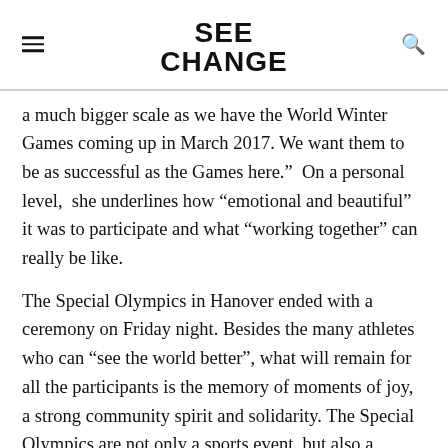SEE CHANGE
a much bigger scale as we have the World Winter Games coming up in March 2017. We want them to be as successful as the Games here.”  On a personal level,  she underlines how “emotional and beautiful” it was to participate and what “working together” can really be like.
The Special Olympics in Hanover ended with a ceremony on Friday night. Besides the many athletes who can “see the world better”, what will remain for all the participants is the memory of moments of joy, a strong community spirit and solidarity. The Special Olympics are not only a sports event, but also a project to promote more